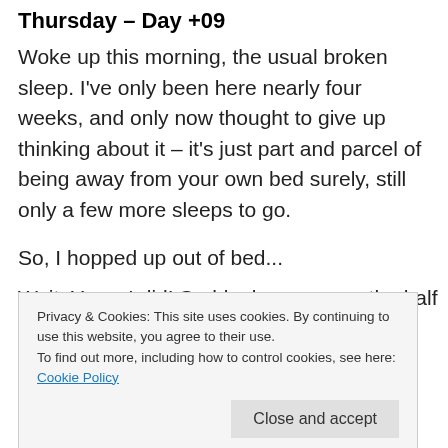Thursday – Day +09
Woke up this morning, the usual broken sleep. I've only been here nearly four weeks, and only now thought to give up thinking about it – it's just part and parcel of being away from your own bed surely, still only a few more sleeps to go.
So, I hopped up out of bed...
Wait. Yes... I did! Suddenly gone was the half
Privacy & Cookies: This site uses cookies. By continuing to use this website, you agree to their use.
To find out more, including how to control cookies, see here: Cookie Policy
back and do that again, got myself in and